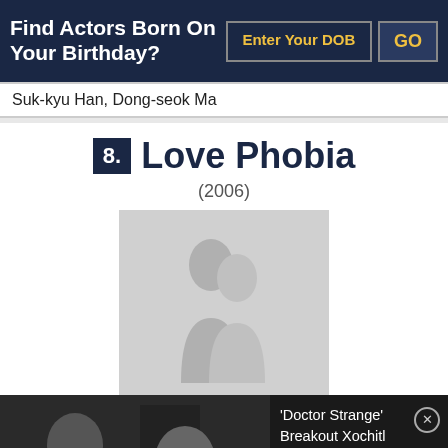Find Actors Born On Your Birthday?
Suk-kyu Han, Dong-seok Ma
8. Love Phobia (2006)
[Figure (photo): Placeholder silhouette image for Love Phobia (2006) movie]
[Figure (photo): Two actresses side-by-side photo]
'Doctor Strange' Breakout Xochitl Gomez, 'Birds of Prey' Star Mary Elizabeth Winstead Join 'Ursa Major' | THR